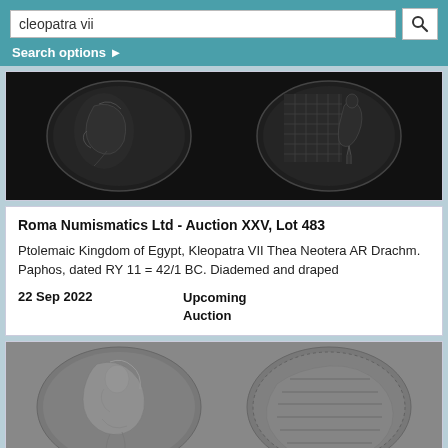cleopatra vii  Search options ►
[Figure (photo): Two ancient bronze coins side by side on dark background: left coin shows draped bust portrait, right coin shows standing figure with decorative pattern]
Roma Numismatics Ltd - Auction XXV, Lot 483
Ptolemaic Kingdom of Egypt, Kleopatra VII Thea Neotera AR Drachm. Paphos, dated RY 11 = 42/1 BC. Diademed and draped
22 Sep 2022    Upcoming Auction
[Figure (photo): Two ancient silver coins side by side on gray background: left coin shows detailed portrait bust facing right, right coin shows reverse with inscriptions]